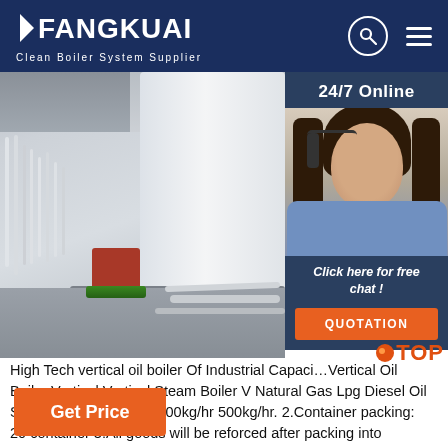FANGKUAI Clean Boiler System Supplier
[Figure (photo): Industrial boiler photo showing a large cylindrical white vertical boiler with pipes, a paint bucket, and tools on the floor of a factory/warehouse setting. Sidebar shows a customer service agent with headset and '24/7 Online' label, 'Click here for free chat!' text, and QUOTATION button.]
High Tech vertical oil boiler Of Industrial Capacity Vertical Oil Boiler Vertical Vertical Steam Boiler V Natural Gas Lpg Diesel Oil Steam Boiler 200kg/hr 300kg/hr 500kg/hr. 2.Container packing: 20 container 3.All goods will be reforced after packing into containers. 100% X-ray inspection (welding seam): ensure the quality of entire boiler; (4).
Get Price